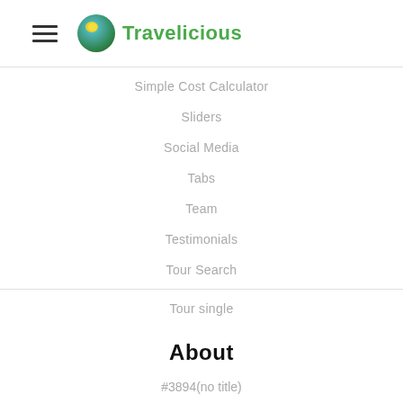Travelicious
Simple Cost Calculator
Sliders
Social Media
Tabs
Team
Testimonials
Tour Search
Tour single
About
#3894(no title)
About us
Become our guide
Clients